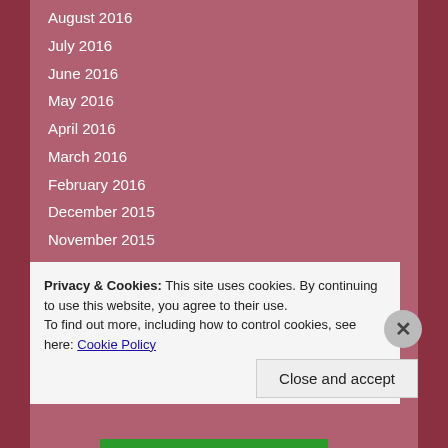August 2016
July 2016
June 2016
May 2016
April 2016
March 2016
February 2016
December 2015
November 2015
October 2015
September 2015
August 2015
July 2015
Privacy & Cookies: This site uses cookies. By continuing to use this website, you agree to their use.
To find out more, including how to control cookies, see here: Cookie Policy
Close and accept